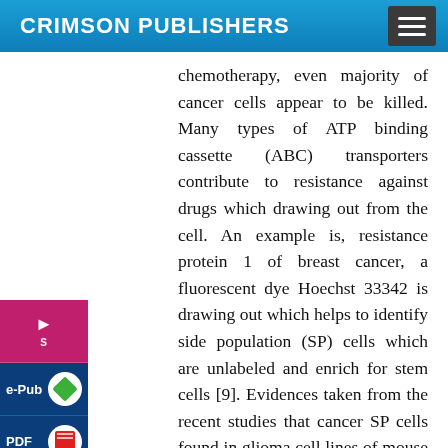CRIMSON PUBLISHERS
chemotherapy, even majority of cancer cells appear to be killed. Many types of ATP binding cassette (ABC) transporters contribute to resistance against drugs which drawing out from the cell. An example is, resistance protein 1 of breast cancer, a fluorescent dye Hoechst 33342 is drawing out which helps to identify side population (SP) cells which are unlabeled and enrich for stem cells [9]. Evidences taken from the recent studies that cancer SP cells found in glioma cell lines of mouse and neuroblastoma in humans having the capability of both multilineage proliferation and self-